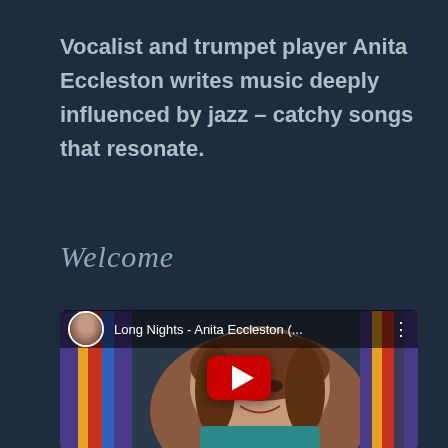Vocalist and trumpet player Anita Eccleston writes music deeply influenced by jazz – catchy songs that resonate.
Welcome
[Figure (screenshot): YouTube video embed showing 'Long Nights - Anita Eccleston (...' with a play button overlay and a thumbnail of a woman singing. A small circular avatar of the artist appears in the video header bar.]